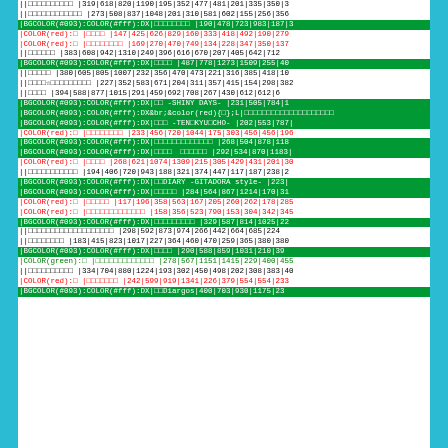| ||□□□□□□□□□□ | 319|618|820|1190|195|352|477|481|201|335|350|3 |
| ||□□□□□□□□□□□□ | 273|508|837|1048|201|310|581|602|155|256|356 |
| |BGCOLOR(#093):COLOR(#fff):DX|□□□□□□□□ | 190|478|723|983|187|3 |
| |COLOR(red):□ |□□□□ | 147|425|626|829|160|333|418|492|190|279 |
| |COLOR(red):□ |□□□□□□□□ | 169|270|470|749|134|228|347|350|137 |
| ||□□□□□□ | 383|608|942|1310|249|396|616|670|207|405|642|712 |
| |BGCOLOR(#093):COLOR(#fff):DX|□□□□ | 487|778|1273|1509|255|40 |
| ||□□□□□ | 380|605|805|1007|232|356|470|473|221|316|385|418|10 |
| ||□□□□☆□□□□□□□□□ | 227|352|583|671|204|311|357|415|154|298|382 |
| ||□□□□ | 394|588|877|1015|291|459|692|708|267|430|612|612|6 |
| |BGCOLOR(#093):COLOR(#fff):DX|□□ -SHINY DAYS- | 231|505|784|1 |
| |BGCOLOR(#093):COLOR(#fff):DX&br;&color(red){□};L|□□□□□□□□□□□□□ |  |
| |BGCOLOR(#093):COLOR(#fff):DX|□□□ -TEN□KYU□CHO- | 202|553|787| |
| |COLOR(red):□ |□□□□□□□□ | 233|456|720|1044|175|303|456|456|196 |
| |BGCOLOR(#093):COLOR(#fff):DX|□□□□□□□□□□□□□ | 268|504|878|118 |
| |BGCOLOR(#093):COLOR(#fff):DX|□□□□　□□□□□□ | 292|534|870|1183| |
| |COLOR(red):□ |□□□□ | 268|621|1074|1309|215|305|429|431|201|30 |
| ||□□□□□□□□□□□ | 194|406|720|943|188|321|374|447|117|187|238|2 |
| |BGCOLOR(#093):COLOR(#fff):DX|□□DIARY -GITADORA style- | 223| |
| |BGCOLOR(#093):COLOR(#fff):DX|□□□□□ | 284|564|867|1214|170|31 |
| |COLOR(red):□ |□□□□□ | 117|196|358|563|167|205|260|262|178|285 |
| |COLOR(red):□ |□□□□□□□□□□□□□ | 158|356|523|790|153|304|342|345 |
| |BGCOLOR(#093):COLOR(#fff):DX|□□□□□□□□□ | 329|587|814|1025|22 |
| ||□□□□□□□□□□□□□□□□□□□ | 298|592|873|974|266|442|664|685|224 |
| ||□□□□□□□□ | 183|415|823|1017|227|364|460|470|259|365|380|380 |
| |BGCOLOR(#093):COLOR(#fff):DX|□□□□ | 290|588|859|1031|210|39 |
| |COLOR(green):□ |□□□□□□□□□□□□□ | 278|567|1151|1415|229|400|455 |
| ||□□□□□□□□□□ | 334|704|880|1224|193|302|450|498|202|308|383|40 |
| |COLOR(red):□ |□□□□□□□ | 242|599|919|1341|226|379|554|554|233 |
| |BGCOLOR(#093):COLOR(#fff):DX|□□Diargos | 400|703|930|1175|23 |